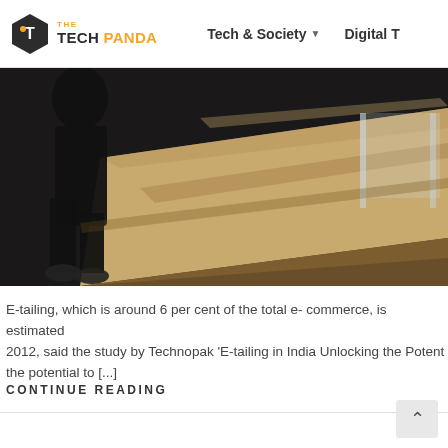THE TECH PANDA | Tech & Society ▾ | Digital T…
[Figure (photo): Interior retail or office scene. A silhouetted figure stands near a wooden counter/desk with light wood surface and glass partition or acrylic display stand on the right.]
E-tailing, which is around 6 per cent of the total e- commerce, is estimated… 2012, said the study by Technopak 'E-tailing in India Unlocking the Potent… the potential to [...]
CONTINUE READING